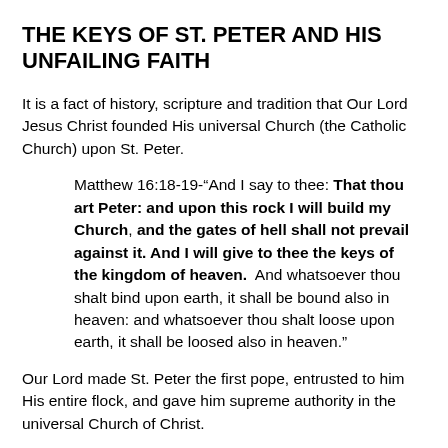THE KEYS OF ST. PETER AND HIS UNFAILING FAITH
It is a fact of history, scripture and tradition that Our Lord Jesus Christ founded His universal Church (the Catholic Church) upon St. Peter.
Matthew 16:18-19-“And I say to thee: That thou art Peter: and upon this rock I will build my Church, and the gates of hell shall not prevail against it. And I will give to thee the keys of the kingdom of heaven. And whatsoever thou shalt bind upon earth, it shall be bound also in heaven: and whatsoever thou shalt loose upon earth, it shall be loosed also in heaven.”
Our Lord made St. Peter the first pope, entrusted to him His entire flock, and gave him supreme authority in the universal Church of Christ.
John 21:15-17-“Jesus saith to Simon Peter: Simon